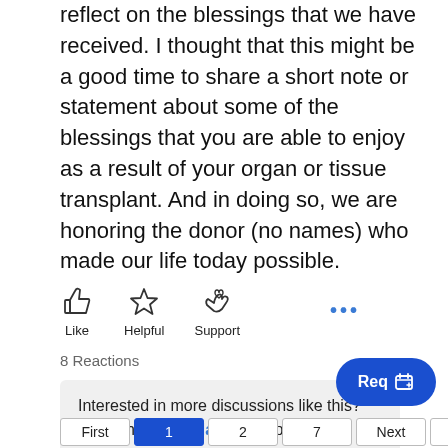reflect on the blessings that we have received. I thought that this might be a good time to share a short note or statement about some of the blessings that you are able to enjoy as a result of your organ or tissue transplant. And in doing so, we are honoring the donor (no names) who made our life today possible.
[Figure (infographic): Three reaction icons: thumbs-up (Like), star (Helpful), and a hand-with-heart (Support), with labels below each]
8 Reactions
Interested in more discussions like this? Go to the Transplants group.